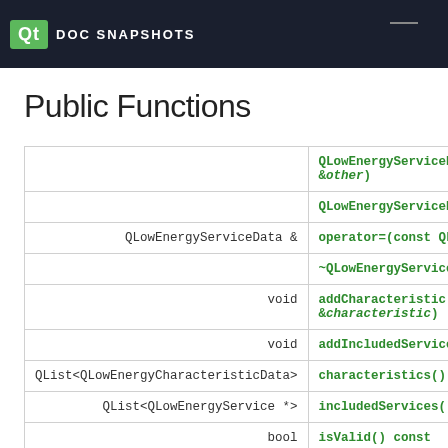Qt DOC SNAPSHOTS
Public Functions
| Return Type | Function |
| --- | --- |
|  | QLowEnergyServiceData(const QLowEnergyServiceData &other) |
|  | QLowEnergyServiceData() |
| QLowEnergyServiceData & | operator=(const QLowEnergyServiceData...) |
|  | ~QLowEnergyServiceData() |
| void | addCharacteristic(const QLowEnergyCharacteristicData &characteristic) |
| void | addIncludedService(QLowEn...) |
| QList<QLowEnergyCharacteristicData> | characteristics() const |
| QList<QLowEnergyService *> | includedServices() const |
| bool | isValid() const |
| void | setCharacteristics(const... |